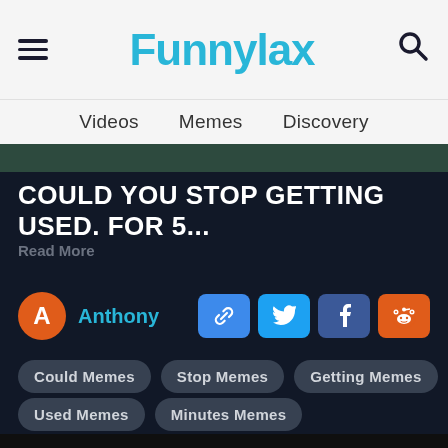Funnylax
Videos   Memes   Discovery
COULD YOU STOP GETTING USED. FOR 5...
Read More
Anthony
Could Memes
Stop Memes
Getting Memes
Used Memes
Minutes Memes